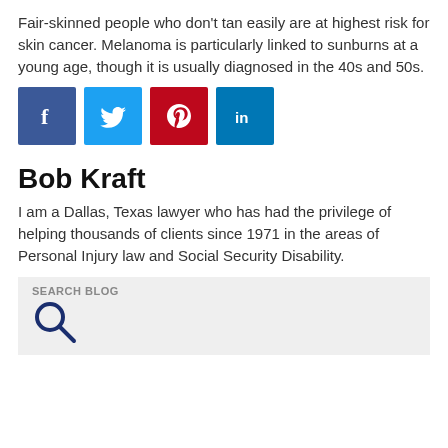Fair-skinned people who don't tan easily are at highest risk for skin cancer. Melanoma is particularly linked to sunburns at a young age, though it is usually diagnosed in the 40s and 50s.
[Figure (infographic): Social media share buttons: Facebook (blue), Twitter (light blue), Pinterest (red), LinkedIn (blue)]
Bob Kraft
I am a Dallas, Texas lawyer who has had the privilege of helping thousands of clients since 1971 in the areas of Personal Injury law and Social Security Disability.
SEARCH BLOG
[Figure (other): Search magnifying glass icon in dark blue]